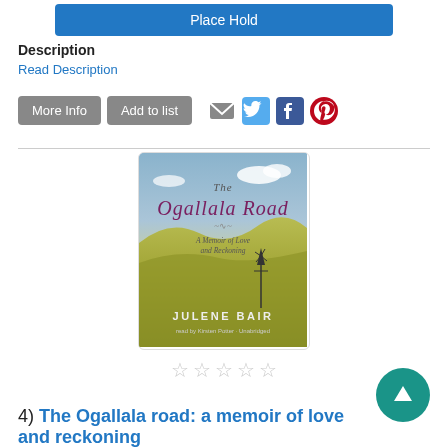Place Hold
Description
Read Description
More Info | Add to list
[Figure (illustration): Book cover of 'The Ogallala Road: A Memoir of Love and Reckoning' by Julene Bair, read by Kirsten Potter, Unabridged. Shows rolling prairie hills with a windmill under a partly cloudy sky.]
4) The Ogallala road: a memoir of love and reckoning